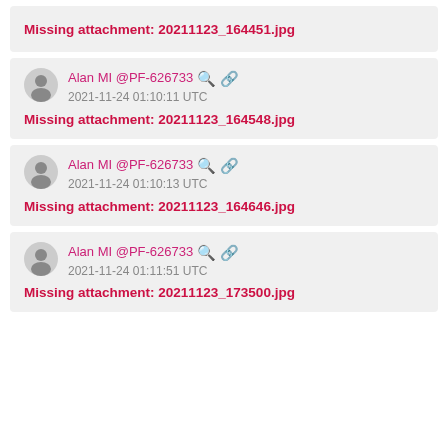Missing attachment: 20211123_164451.jpg
Alan MI @PF-626733
2021-11-24 01:10:11 UTC
Missing attachment: 20211123_164548.jpg
Alan MI @PF-626733
2021-11-24 01:10:13 UTC
Missing attachment: 20211123_164646.jpg
Alan MI @PF-626733
2021-11-24 01:11:51 UTC
Missing attachment: 20211123_173500.jpg